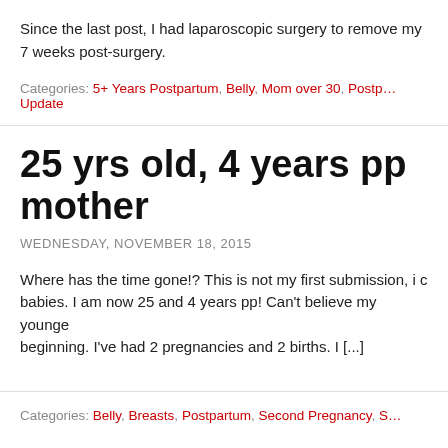Since the last post, I had laparoscopic surgery to remove my 7 weeks post-surgery.
Categories: 5+ Years Postpartum, Belly, Mom over 30, Postpartum, Update
25 yrs old, 4 years pp mother
WEDNESDAY, NOVEMBER 18, 2015
Where has the time gone!? This is not my first submission, i c babies. I am now 25 and 4 years pp! Can't believe my younge beginning. I've had 2 pregnancies and 2 births. I [...]
Categories: Belly, Breasts, Postpartum, Second Pregnancy, S